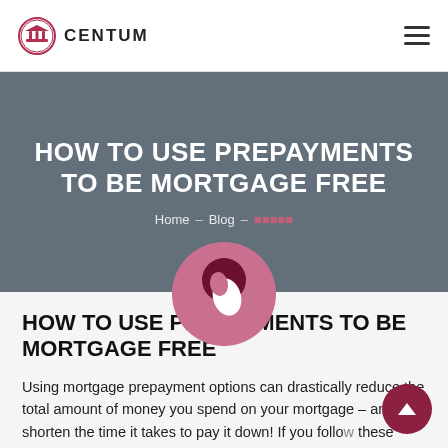CENTUM
HOW TO USE PREPAYMENTS TO BE MORTGAGE FREE
Home – Blog – [current page]
[Figure (logo): Circular pink and dark red icon with a white bean/person shape]
HOW TO USE PREPAYMENTS TO BE MORTGAGE FREE
Using mortgage prepayment options can drastically reduce the total amount of money you spend on your mortgage – and shorten the time it takes to pay it down!  If you follow these three steps, you can be mortgage free sooner than...